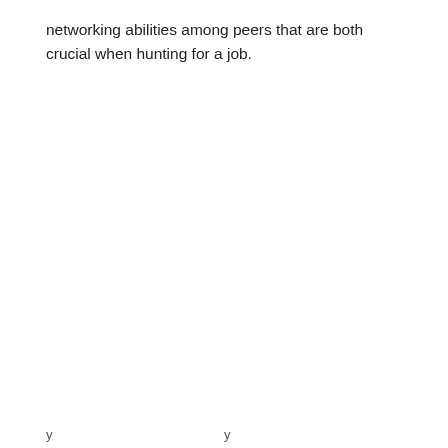networking abilities among peers that are both crucial when hunting for a job.
y
y